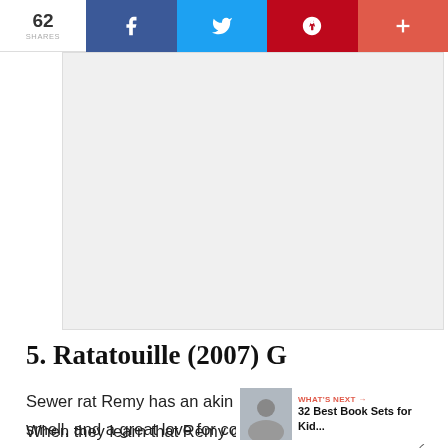62 SHARES | f | tweet | p | +
[Figure (other): Advertisement or image placeholder area (gray rectangle)]
5. Ratatouille (2007) G
Sewer rat Remy has an akin sense of taste and smell, and a great love for cooking. He meets Alfredo Linguini, a restaurant worker in Paris who is hopeless at his job.
When they learn that Remy can control